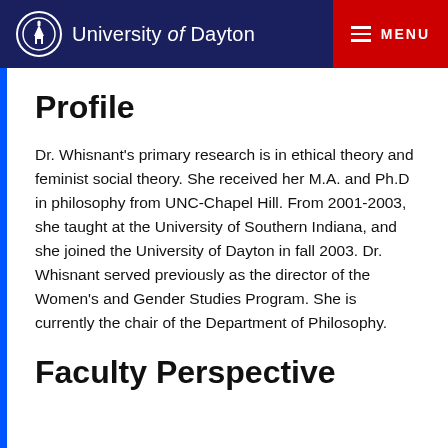University of Dayton — MENU
Profile
Dr. Whisnant's primary research is in ethical theory and feminist social theory. She received her M.A. and Ph.D in philosophy from UNC-Chapel Hill. From 2001-2003, she taught at the University of Southern Indiana, and she joined the University of Dayton in fall 2003. Dr. Whisnant served previously as the director of the Women's and Gender Studies Program. She is currently the chair of the Department of Philosophy.
Faculty Perspective